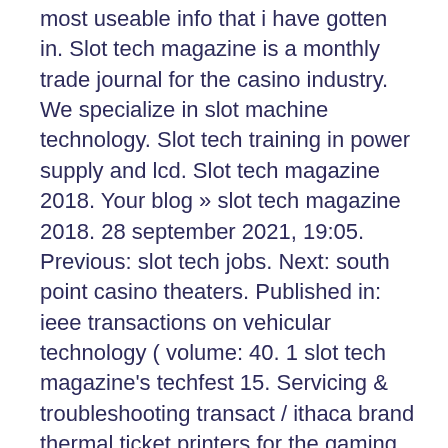most useable info that i have gotten in. Slot tech magazine is a monthly trade journal for the casino industry. We specialize in slot machine technology. Slot tech training in power supply and lcd. Slot tech magazine 2018. Your blog » slot tech magazine 2018. 28 september 2021, 19:05. Previous: slot tech jobs. Next: south point casino theaters. Published in: ieee transactions on vehicular technology ( volume: 40. 1 slot tech magazine's techfest 15. Servicing &amp; troubleshooting transact / ithaca brand thermal ticket printers for the gaming industry presenter: russell. Slot tech magazine(6) - free download as pdf file (. Pdf), text file (. Txt) or read online for free. Is it a slot machine, or an iphone with a handle? pretty soon, we'll be able to play slots anywhere. We can get frustrated by near-misses when we're in an. 9 slot organizer - it can help you to organized magazine books files and so on. make your...